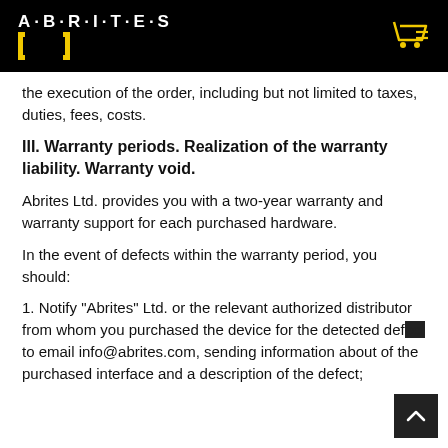ABRITES
the execution of the order, including but not limited to taxes, duties, fees, costs.
III. Warranty periods. Realization of the warranty liability. Warranty void.
Abrites Ltd. provides you with a two-year warranty and warranty support for each purchased hardware.
In the event of defects within the warranty period, you should:
1. Notify "Abrites" Ltd. or the relevant authorized distributor from whom you purchased the device for the detected defect to email info@abrites.com, sending information about of the purchased interface and a description of the defect;